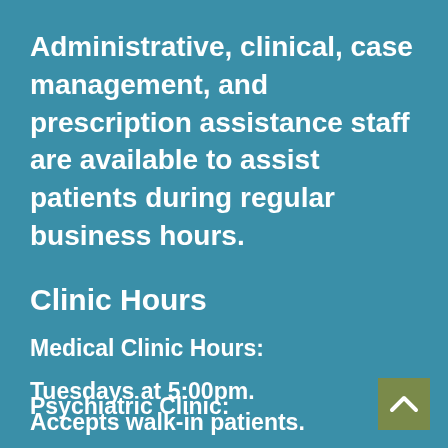Administrative, clinical, case management, and prescription assistance staff are available to assist patients during regular business hours.
Clinic Hours
Medical Clinic Hours:
Tuesdays at 5:00pm. Accepts walk-in patients.
Psychiatric Clinic: